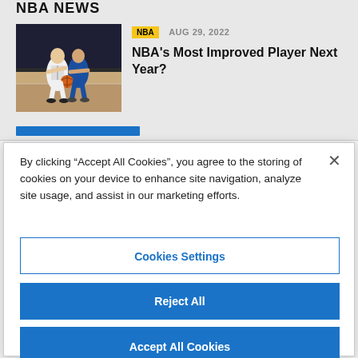NBA NEWS
[Figure (photo): Basketball players on court, one in white jersey dribbling against a defender]
NBA  AUG 29, 2022
NBA's Most Improved Player Next Year?
By clicking “Accept All Cookies”, you agree to the storing of cookies on your device to enhance site navigation, analyze site usage, and assist in our marketing efforts.
Cookies Settings
Reject All
Accept All Cookies